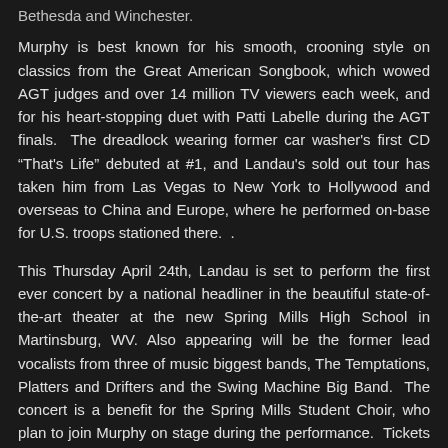Bethesda and Winchester.
Murphy is best known for his smooth, crooning style on classics from the Great American Songbook, which wowed AGT judges and over 14 million TV viewers each week, and for his heart-stopping duet with Patti Labelle during the AGT finals. The dreadlock wearing former car washer's first CD "That's Life" debuted at #1, and Landau's sold out tour has taken him from Las Vegas to New York to Hollywood and overseas to China and Europe, where he performed on-base for U.S. troops stationed there. .
This Thursday April 24th, Landau is set to perform the first ever concert by a national headliner in the beautiful state-of-the-art theater at the new Spring Mills High School in Martinsburg, WV. Also appearing will be the former lead vocalists from three of music biggest bands, The Temptations, Platters and Drifters and the Swing Machine Big Band. The concert is a benefit for the Spring Mills Student Choir, who plan to join Murphy on stage during the performance. Tickets are available online now at landaumurphyjr.com and from the Spring Mills High School Student Choir Department.
Friday night April 25th, Landau makes his triumphant return to the